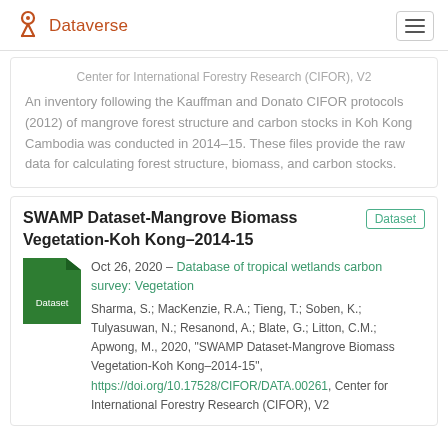Dataverse
Center for International Forestry Research (CIFOR), V2
An inventory following the Kauffman and Donato CIFOR protocols (2012) of mangrove forest structure and carbon stocks in Koh Kong Cambodia was conducted in 2014-15. These files provide the raw data for calculating forest structure, biomass, and carbon stocks.
SWAMP Dataset-Mangrove Biomass Vegetation-Koh Kong–2014-15
Dataset
Oct 26, 2020 – Database of tropical wetlands carbon survey: Vegetation
Sharma, S.; MacKenzie, R.A.; Tieng, T.; Soben, K.; Tulyasuwan, N.; Resanond, A.; Blate, G.; Litton, C.M.; Apwong, M., 2020, "SWAMP Dataset-Mangrove Biomass Vegetation-Koh Kong–2014-15", https://doi.org/10.17528/CIFOR/DATA.00261, Center for International Forestry Research (CIFOR), V2